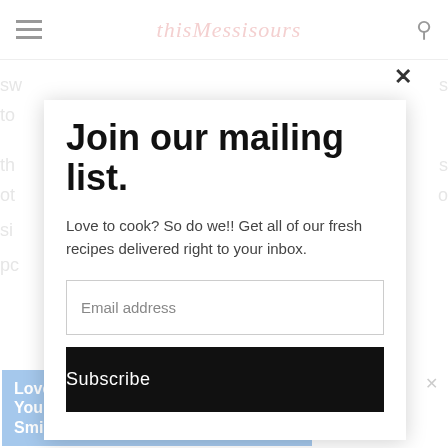thisMessisours — navigation bar with hamburger menu, logo, and search icon
Join our mailing list.
Love to cook? So do we!! Get all of our fresh recipes delivered right to your inbox.
Email address
Subscribe
[Figure (screenshot): Bottom advertisement banner: blue background with 'Love Your Smile.' text, cyan pentagon graphic, #HelpByDesign hashtag, close button, and Mediavine logo icon on right side]